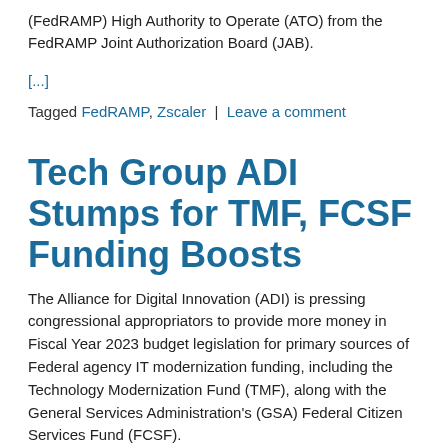(FedRAMP) High Authority to Operate (ATO) from the FedRAMP Joint Authorization Board (JAB).
[...]
Tagged FedRAMP, Zscaler | Leave a comment
Tech Group ADI Stumps for TMF, FCSF Funding Boosts
The Alliance for Digital Innovation (ADI) is pressing congressional appropriators to provide more money in Fiscal Year 2023 budget legislation for primary sources of Federal agency IT modernization funding, including the Technology Modernization Fund (TMF), along with the General Services Administration's (GSA) Federal Citizen Services Fund (FCSF).
[...]